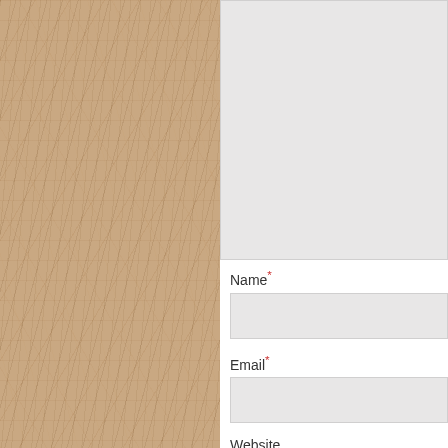[Figure (photo): Fibrous beige/tan paper texture sidebar on the left side of the page]
Name*
Email*
Website
Save my name, email, and website in this browser for
+ two = 5